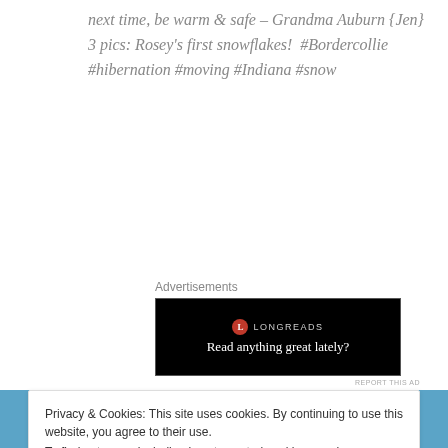next time, be warm & safe – Grandma Auburn {Jen} 3 pics: Rosey's first snowflakes!  #Bordercollie #hibernation #moving #Indiana #snow
Advertisements
[Figure (other): Longreads advertisement banner with red circle logo and text 'Read anything great lately?' on black background]
REPORT THIS AD
Privacy & Cookies: This site uses cookies. By continuing to use this website, you agree to their use.
To find out more, including how to control cookies, see here: Cookie Policy
Close and accept